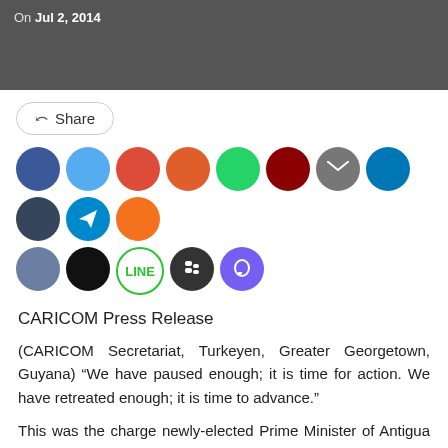[Figure (photo): Dark photo strip showing a person in a suit with a date label overlay reading 'On Jul 2, 2014']
[Figure (infographic): Social share button and row of social media icon circles: Facebook, Twitter, Google+, Reddit, WhatsApp, Pinterest, Email, LinkedIn, Tumblr, Telegram, Odnoklassniki, VK, Black (app), Line, BlackBerry, Viber]
CARICOM Press Release
(CARICOM Secretariat, Turkeyen, Greater Georgetown, Guyana) “We have paused enough; it is time for action. We have retreated enough; it is time to advance.”
This was the charge newly-elected Prime Minister of Antigua and Barbuda, the Honourable Gaston Browne, delivered on Tuesday evening to the Caribbean Community (CARICOM), as he made his first address at a Conference of Heads of Government of CARICOM.